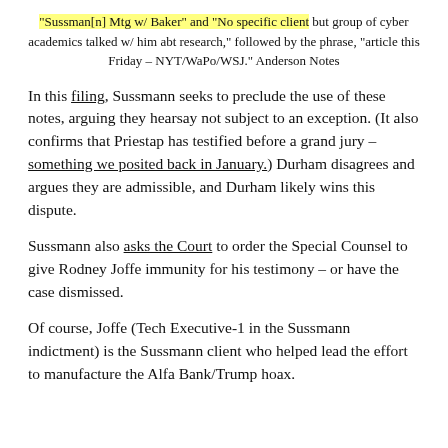"Sussman[n] Mtg w/ Baker" and "No specific client but group of cyber academics talked w/ him abt research," followed by the phrase, "article this Friday – NYT/WaPo/WSJ." Anderson Notes
In this filing, Sussmann seeks to preclude the use of these notes, arguing they hearsay not subject to an exception. (It also confirms that Priestap has testified before a grand jury – something we posited back in January.) Durham disagrees and argues they are admissible, and Durham likely wins this dispute.
Sussmann also asks the Court to order the Special Counsel to give Rodney Joffe immunity for his testimony – or have the case dismissed.
Of course, Joffe (Tech Executive-1 in the Sussmann indictment) is the Sussmann client who helped lead the effort to manufacture the Alfa Bank/Trump hoax.